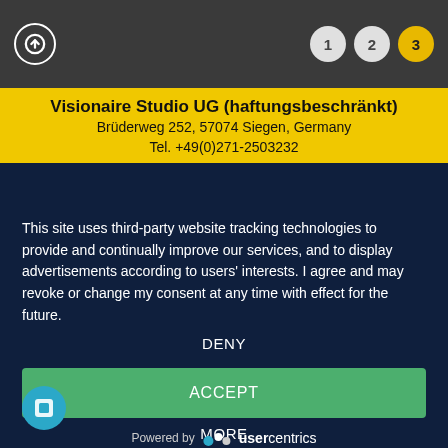Step navigation: 1, 2, 3 (active)
Visionaire Studio UG (haftungsbeschränkt)
Brüderweg 252, 57074 Siegen, Germany
Tel. +49(0)271-2503232
This site uses third-party website tracking technologies to provide and continually improve our services, and to display advertisements according to users' interests. I agree and may revoke or change my consent at any time with effect for the future.
DENY
ACCEPT
MORE
Powered by usercentrics